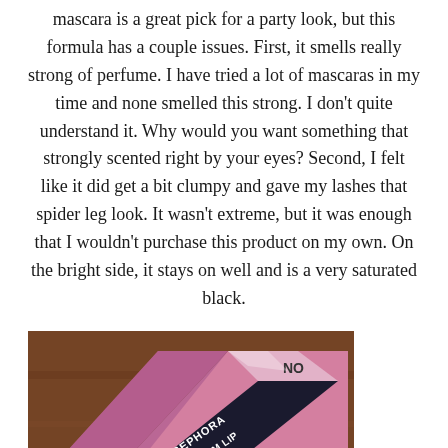mascara is a great pick for a party look, but this formula has a couple issues.  First, it smells really strong of perfume.  I have tried a lot of mascaras in my time and none smelled this strong.  I don't quite understand it.  Why would you want something that strongly scented right by your eyes?  Second, I felt like it did get a bit clumpy and gave my lashes that spider leg look.  It wasn't extreme, but it was enough that I wouldn't purchase this product on my own.  On the bright side, it stays on well and is a very saturated black.
[Figure (photo): A photo of a Sephora Cream Lip product packaging in pink and dark purple/black colors on a wooden surface.]